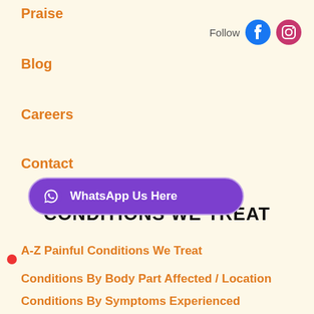Praise
[Figure (logo): Follow text with Facebook and Instagram social media icons]
Blog
Careers
Contact
CONDITIONS WE TREAT
A-Z Painful Conditions We Treat
Conditions By Body Part Affected / Location
Conditions By Symptoms Experienced
Common Sports Injuries
[Figure (other): WhatsApp Us Here button in purple]
...fic Injuries
Therapy Used & Joint Recovery & Fibro Conditio...